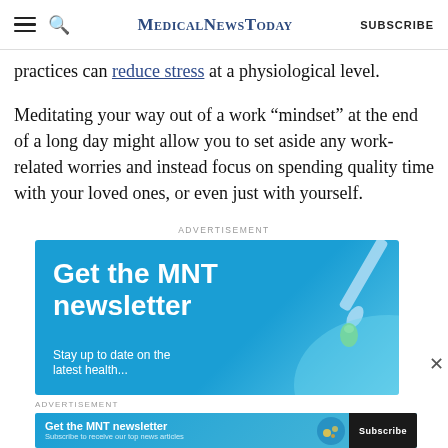MedicalNewsToday | SUBSCRIBE
practices can reduce stress at a physiological level.
Meditating your way out of a work “mindset” at the end of a long day might allow you to set aside any work-related worries and instead focus on spending quality time with your loved ones, or even just with yourself.
ADVERTISEMENT
[Figure (illustration): MNT newsletter advertisement banner with blue gradient background, dropper illustration, text: Get the MNT newsletter, Stay up to date on the latest health...]
ADVERTISEMENT
[Figure (illustration): Sticky bottom ad bar: Get the MNT newsletter. Subscribe to receive our top news articles. SUBSCRIBE button.]